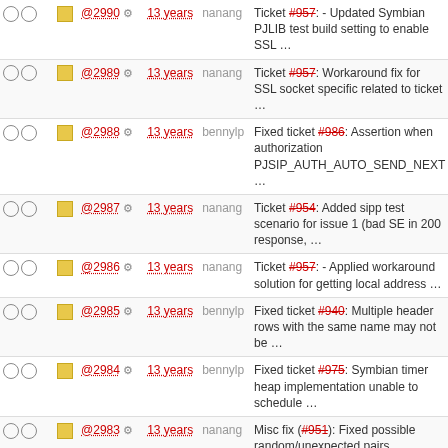|  |  |  |  | Author | Description |
| --- | --- | --- | --- | --- | --- |
| ○ ○ | ■ | @2990 ⚙ | 13 years | nanang | Ticket #957: - Updated Symbian PJLIB test build setting to enable SSL … |
| ○ ○ | ■ | @2989 ⚙ | 13 years | nanang | Ticket #957: Workaround fix for SSL socket specific related to ticket … |
| ○ ○ | ■ | @2988 ⚙ | 13 years | bennylp | Fixed ticket #986: Assertion when authorization PJSIP_AUTH_AUTO_SEND_NEXT … |
| ○ ○ | ■ | @2987 ⚙ | 13 years | nanang | Ticket #954: Added sipp test scenario for issue 1 (bad SE in 200 response, … |
| ○ ○ | ■ | @2986 ⚙ | 13 years | nanang | Ticket #957: - Applied workaround solution for getting local address … |
| ○ ○ | ■ | @2985 ⚙ | 13 years | bennylp | Fixed ticket #940: Multiple header rows with the same name may not be … |
| ○ ○ | ■ | @2984 ⚙ | 13 years | bennylp | Fixed ticket #975: Symbian timer heap implementation unable to schedule … |
| ○ ○ | ■ | @2983 ⚙ | 13 years | nanang | Misc fix (#951): Fixed possible random/unexpected pairs generated in … |
| ○ ○ | ■ | @2982 ⚙ | 13 years | bennylp | More ticket #972: setsockopt options compatibility on various platforms: … |
| ○ ○ | ■ | @2981 ⚙ | 13 years | nanang | Ticket #957: - Added SSL socket performance test. - Added incompatible … |
| ○ ○ | ■ | @2980 ⚙ | 13 years | nanang | Ticket #984: Minor fix of compile … |